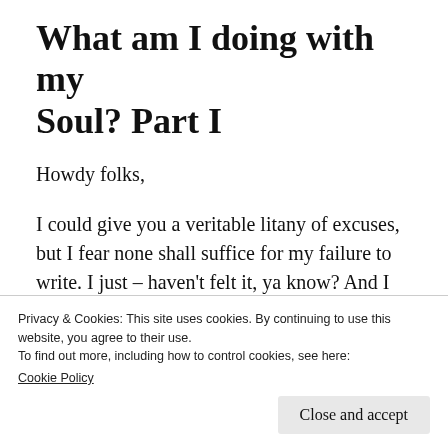What am I doing with my Soul? Part I
Howdy folks,
I could give you a veritable litany of excuses, but I fear none shall suffice for my failure to write. I just – haven't felt it, ya know? And I ain't about forcing shit down peoples' throats if it ain't something worth writing. Damndest thing, I know, but my Bukowski has made his
Privacy & Cookies: This site uses cookies. By continuing to use this website, you agree to their use.
To find out more, including how to control cookies, see here: Cookie Policy
Close and accept